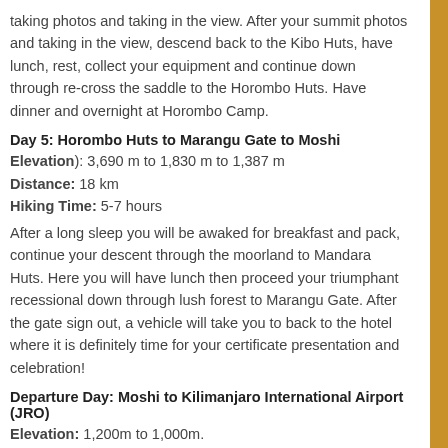taking photos and taking in the view. After your summit photos and taking in the view, descend back to the Kibo Huts, have lunch, rest, collect your equipment and continue down through re-cross the saddle to the Horombo Huts. Have dinner and overnight at Horombo Camp.
Day 5: Horombo Huts to Marangu Gate to Moshi
Elevation): 3,690 m to 1,830 m to 1,387 m
Distance: 18 km
Hiking Time: 5-7 hours
After a long sleep you will be awaked for breakfast and pack, continue your descent through the moorland to Mandara Huts. Here you will have lunch then proceed your triumphant recessional down through lush forest to Marangu Gate. After the gate sign out, a vehicle will take you to back to the hotel where it is definitely time for your certificate presentation and celebration!
Departure Day: Moshi to Kilimanjaro International Airport (JRO)
Elevation: 1,200m to 1,000m.
Distance: 36 km